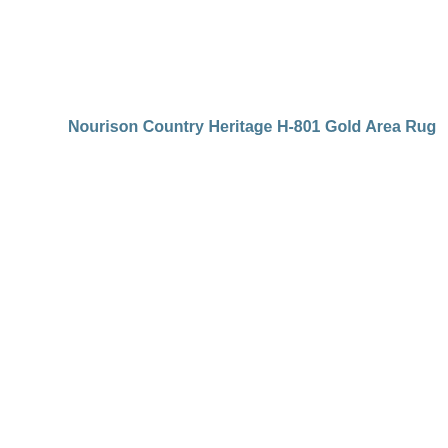Nourison Country Heritage H-801 Gold Area Rug